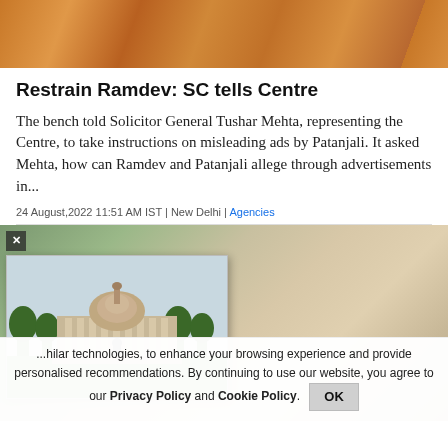[Figure (photo): Person wearing orange clothing, partial view from behind]
Restrain Ramdev: SC tells Centre
The bench told Solicitor General Tushar Mehta, representing the Centre, to take instructions on misleading ads by Patanjali. It asked Mehta, how can Ramdev and Patanjali allege through advertisements in...
24 August,2022 11:51 AM IST | New Delhi | Agencies
[Figure (photo): Supreme Court building image in a popup overlay, with a person's face visible in background]
...hilar technologies, to enhance your browsing experience and provide personalised recommendations. By continuing to use our website, you agree to our Privacy Policy and Cookie Policy.